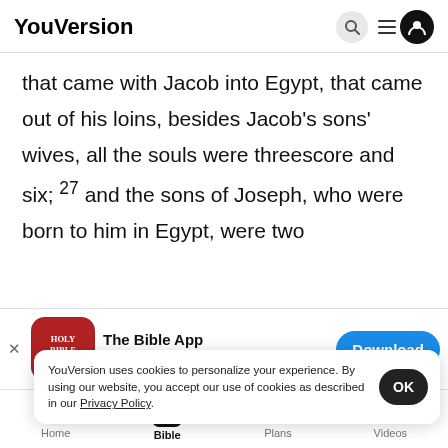YouVersion
that came with Jacob into Egypt, that came out of his loins, besides Jacob's sons' wives, all the souls were threescore and six; 27 and the sons of Joseph, who were born to him in Egypt, were two
[Figure (screenshot): App store banner for 'The Bible App' with red icon showing HOLY BIBLE text, 5 gold stars, 7.9M ratings, and a blue Download button]
And he sent Judah before him unto Jos... And Joseph came into the land of Goshen.
YouVersion uses cookies to personalize your experience. By using our website, you accept our use of cookies as described in our Privacy Policy.
Home | Bible | Plans | Videos